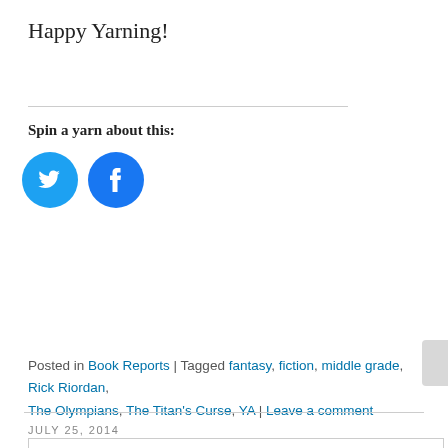Happy Yarning!
Spin a yarn about this:
[Figure (illustration): Twitter and Facebook circular social sharing buttons in cyan/blue]
Posted in Book Reports | Tagged fantasy, fiction, middle grade, Rick Riordan, The Olympians, The Titan's Curse, YA | Leave a comment
JULY 25, 2014
Privacy & Cookies: This site uses cookies. By continuing to use this website, you agree to their use.
To find out more, including how to control cookies, see here: Cookie Policy